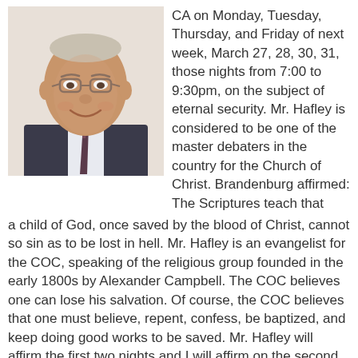[Figure (photo): Headshot of an older man with glasses, wearing a dark suit jacket with a patterned tie, smiling.]
CA on Monday, Tuesday, Thursday, and Friday of next week, March 27, 28, 30, 31, those nights from 7:00 to 9:30pm, on the subject of eternal security. Mr. Hafley is considered to be one of the master debaters in the country for the Church of Christ. Brandenburg affirmed: The Scriptures teach that a child of God, once saved by the blood of Christ, cannot so sin as to be lost in hell. Mr. Hafley is an evangelist for the COC, speaking of the religious group founded in the early 1800s by Alexander Campbell. The COC believes one can lose his salvation. Of course, the COC believes that one must believe, repent, confess, be baptized, and keep doing good works to be saved. Mr. Hafley will affirm the first two nights and I will affirm on the second two. Each night will go: affirmation (20 min), rebuttal (20 min), affirmation (20 min), rebuttal (20 min), affirmation (20 min), and rebuttal (20 min).